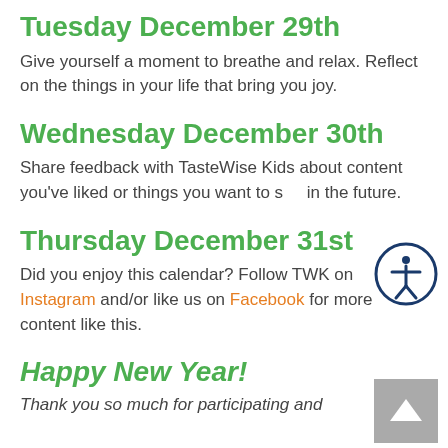Tuesday December 29th
Give yourself a moment to breathe and relax. Reflect on the things in your life that bring you joy.
Wednesday December 30th
Share feedback with TasteWise Kids about content you've liked or things you want to see in the future.
Thursday December 31st
Did you enjoy this calendar? Follow TWK on Instagram and/or like us on Facebook for more content like this.
Happy New Year!
Thank you so much for participating and